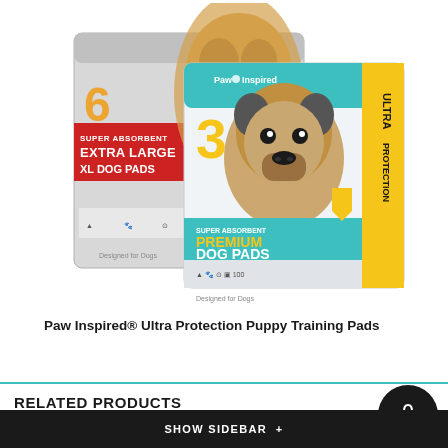[Figure (photo): Two packages of Paw Inspired dog pads. Left background: Extra Large Dog Pads package with a golden retriever, labeled with '6' and a red Extra Large banner. Front: Premium Dog Pads Ultra Protection package with a French bulldog puppy, labeled '3' and showing blue/teal accents with yellow shield logo.]
Paw Inspired® Ultra Protection Puppy Training Pads
RELATED PRODUCTS
SHOW SIDEBAR +